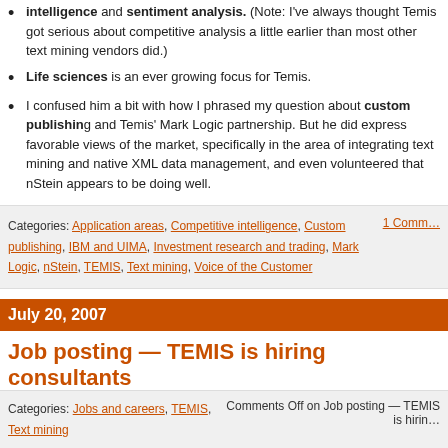intelligence and sentiment analysis. (Note: I've always thought Temis got serious about competitive analysis a little earlier than most other text mining vendors did.)
Life sciences is an ever growing focus for Temis.
I confused him a bit with how I phrased my question about custom publishing and Temis' Mark Logic partnership. But he did express favorable views of the market, specifically in the area of integrating text mining and native XML data management, and even volunteered that nStein appears to be doing well.
Categories: Application areas, Competitive intelligence, Custom publishing, IBM and UIMA, Investment research and trading, Mark Logic, nStein, TEMIS, Text mining, Voice of the Customer   1 Comm...
July 20, 2007
Job posting — TEMIS is hiring consultants
TEMIS is a French company, with US headquarters in the US, as befits a company whose strongest vertical market is pharmaceuticals. I offered to put up a couple of job postings for them. (Nice of me — TEMIS isn't even a client yet!) Here goes. Read m...
Categories: Jobs and careers, TEMIS, Text mining     Comments Off on Job posting — TEMIS is hirin...